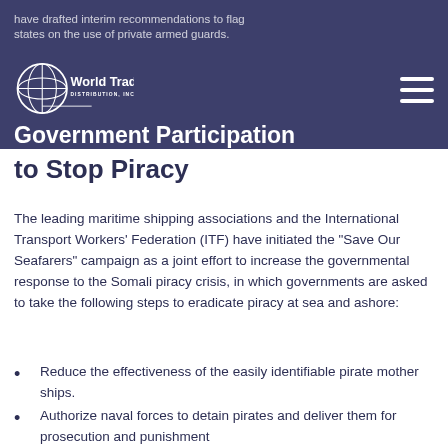have drafted interim recommendations to flag states on the use of private armed guards.
[Figure (logo): World Trade Distribution Inc. globe logo with text]
Government Participation to Stop Piracy
The leading maritime shipping associations and the International Transport Workers' Federation (ITF) have initiated the “Save Our Seafarers” campaign as a joint effort to increase the governmental response to the Somali piracy crisis, in which governments are asked to take the following steps to eradicate piracy at sea and ashore:
Reduce the effectiveness of the easily identifiable pirate mother ships.
Authorize naval forces to detain pirates and deliver them for prosecution and punishment